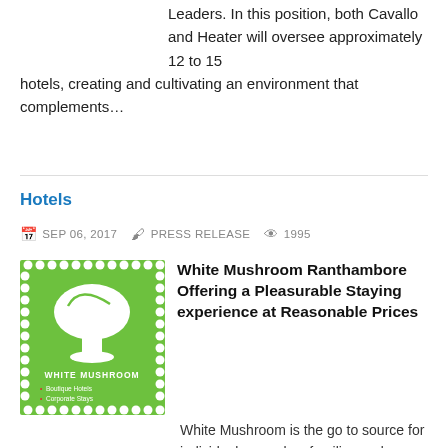Leaders. In this position, both Cavallo and Heater will oversee approximately 12 to 15 hotels, creating and cultivating an environment that complements…
Hotels
SEP 06, 2017   PRESS RELEASE   1995
White Mushroom Ranthambore Offering a Pleasurable Staying experience at Reasonable Prices
White Mushroom is the go to source for individuals, couples, families and groups with itchy feet. Headquartered in New Delhi, White Mushroom brings to the table a range of budget properties at ideal locations with very good amenities in coveted…
Hotels